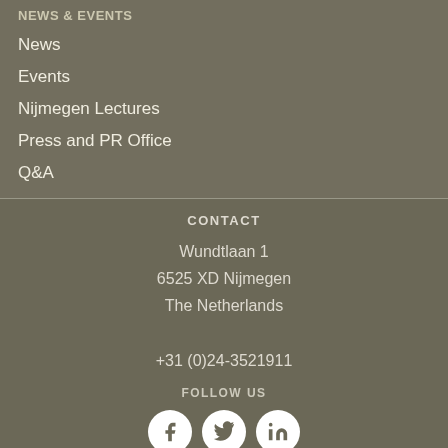NEWS & EVENTS
News
Events
Nijmegen Lectures
Press and PR Office
Q&A
CONTACT
Wundtlaan 1
6525 XD Nijmegen
The Netherlands
+31 (0)24-3521911
FOLLOW US
[Figure (illustration): Social media icons: Facebook, Twitter, LinkedIn as white circles on dark background]
An Institute of